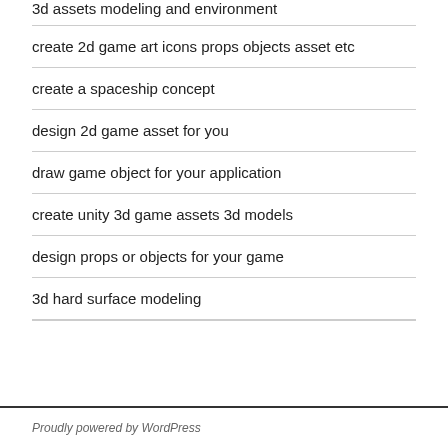3d assets modeling and environment
create 2d game art icons props objects asset etc
create a spaceship concept
design 2d game asset for you
draw game object for your application
create unity 3d game assets 3d models
design props or objects for your game
3d hard surface modeling
Proudly powered by WordPress